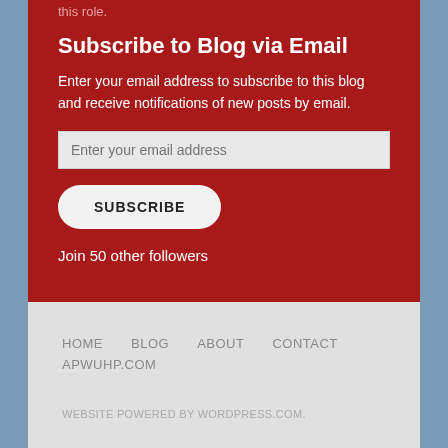this role.
Subscribe to Blog via Email
Enter your email address to subscribe to this blog and receive notifications of new posts by email.
Join 50 other followers
HOME
BLOG
ABOUT
CONTACT
APWUHP.COM
WEBSITE POWERED BY WORDPRESS.COM.